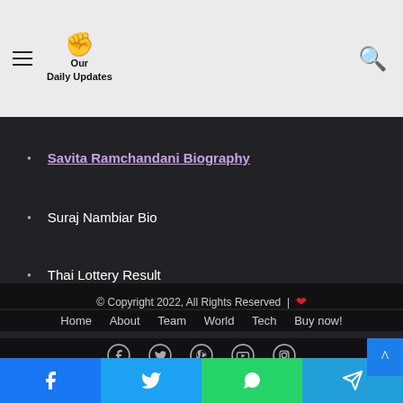Our Daily Updates
Savita Ramchandani Biography
Suraj Nambiar Bio
Thai Lottery Result
© Copyright 2022, All Rights Reserved | ❤ Home About Team World Tech Buy now!